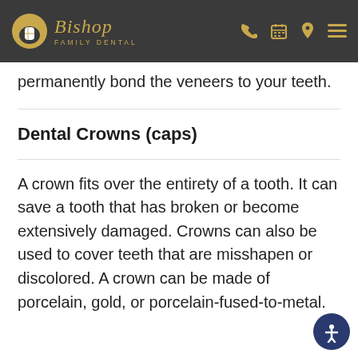Bishop Family Dental
permanently bond the veneers to your teeth.
Dental Crowns (caps)
A crown fits over the entirety of a tooth. It can save a tooth that has broken or become extensively damaged. Crowns can also be used to cover teeth that are misshapen or discolored. A crown can be made of porcelain, gold, or porcelain-fused-to-metal.